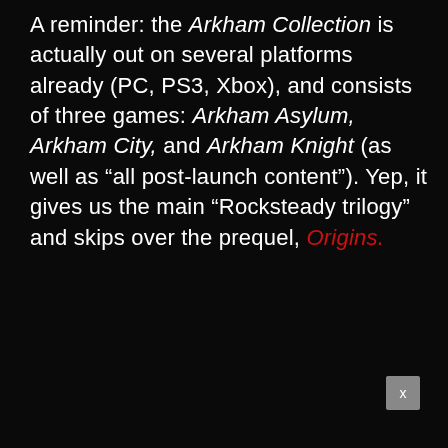A reminder: the Arkham Collection is actually out on several platforms already (PC, PS3, Xbox), and consists of three games: Arkham Asylum, Arkham City, and Arkham Knight (as well as “all post-launch content”). Yep, it gives us the main “Rocksteady trilogy” and skips over the prequel, Origins.